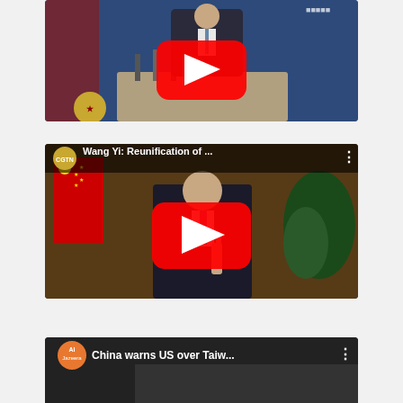[Figure (screenshot): YouTube video thumbnail showing a man in a suit at a podium with microphones, with a YouTube play button overlay. Partial top view.]
[Figure (screenshot): YouTube video thumbnail from CGTN channel. Title: 'Wang Yi: Reunification of ...' Shows Wang Yi gesturing with one finger raised, Chinese flag visible. YouTube play button overlay.]
[Figure (screenshot): YouTube video thumbnail from Al Jazeera channel. Title: 'China warns US over Taiw...' Dark background with text overlay. Partially visible at bottom.]